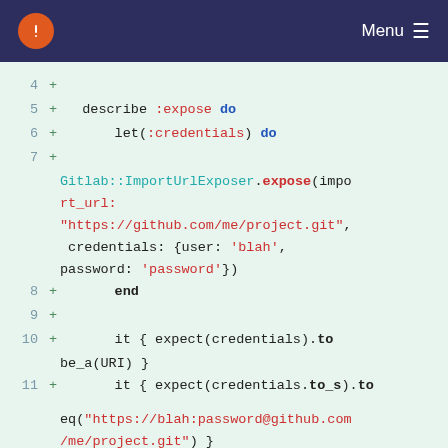Menu
[Figure (screenshot): Code diff showing Ruby RSpec test for Gitlab::ImportUrlExposer.expose method, lines 4-13, with green highlighted additions showing describe :expose block with let(:credentials), expose call with import_url and credentials hash, and it blocks for URI and to_s expectations.]